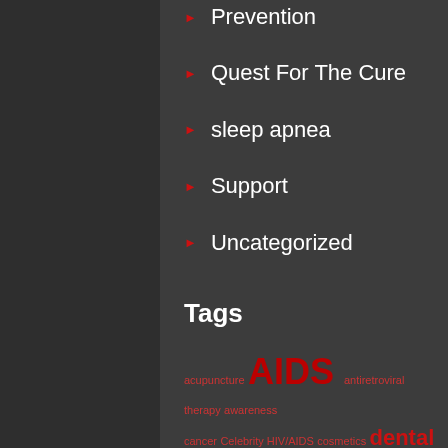Prevention
Quest For The Cure
sleep apnea
Support
Uncategorized
Tags
acupuncture AIDS antiretroviral therapy awareness cancer Celebrity HIV/AIDS cosmetics dental care dental health dental health HIV dental problems dental problems of HIV patients Gum Disease gums health Healthcare health care HIV HIV/AIDS HIV/AIDS Awareness HIV/AIDS mouth infection HIV Encephalopathy HIV Medication HIV mouth ulcer HIV oral health HIV oral